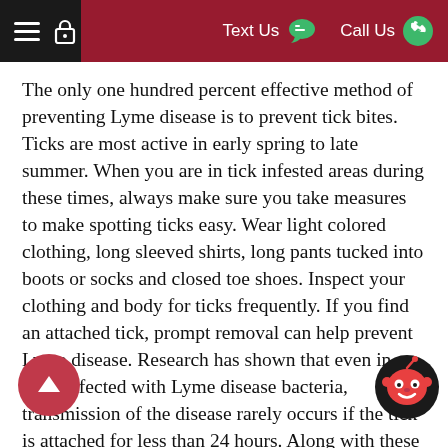☰  🔒   Text Us   Call Us
The only one hundred percent effective method of preventing Lyme disease is to prevent tick bites. Ticks are most active in early spring to late summer. When you are in tick infested areas during these times, always make sure you take measures to make spotting ticks easy. Wear light colored clothing, long sleeved shirts, long pants tucked into boots or socks and closed toe shoes. Inspect your clothing and body for ticks frequently. If you find an attached tick, prompt removal can help prevent Lyme disease. Research has shown that even in ticks infected with Lyme disease bacteria, transmission of the disease rarely occurs if the tick is attached for less than 24 hours. Along with these proactive measures, a tick control service can reduce tick populations in and around your property.
Living in and around the Capital Region it is inevita... you will come across ticks. Unfortunately, keeping these